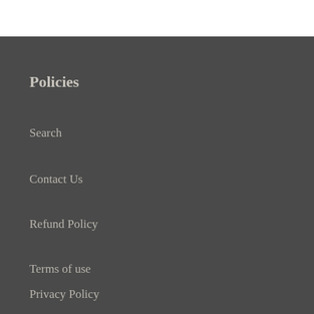Policies
Search
Contact Us
Refund Policy
Terms of use
Privacy Policy